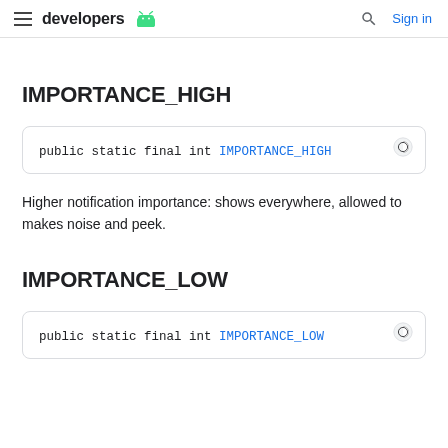developers — Sign in
IMPORTANCE_HIGH
public static final int IMPORTANCE_HIGH
Higher notification importance: shows everywhere, allowed to makes noise and peek.
IMPORTANCE_LOW
public static final int IMPORTANCE_LOW